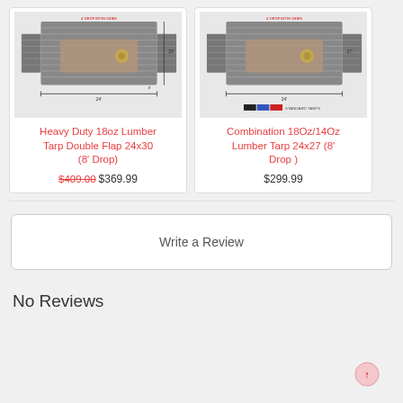[Figure (engineering-diagram): Top-view engineering diagram of Heavy Duty 18oz Lumber Tarp Double Flap 24x30 (8' Drop) with dimension annotations]
Heavy Duty 18oz Lumber Tarp Double Flap 24x30 (8' Drop)
$409.00 $369.99
[Figure (engineering-diagram): Top-view engineering diagram of Combination 18Oz/14Oz Lumber Tarp 24x27 (8' Drop) with dimension annotations and color legend]
Combination 18Oz/14Oz Lumber Tarp 24x27 (8' Drop )
$299.99
Write a Review
No Reviews